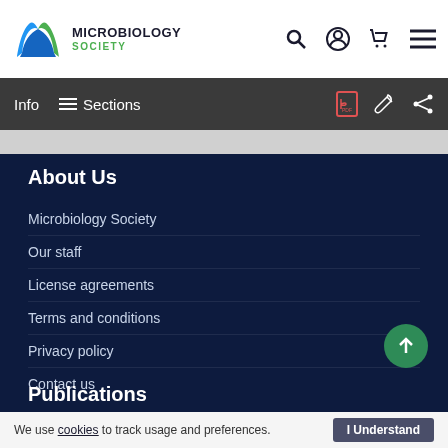[Figure (logo): Microbiology Society logo with 'M' shaped leaf icon in green and blue gradient, text MICROBIOLOGY SOCIETY]
Info  Sections
About Us
Microbiology Society
Our staff
License agreements
Terms and conditions
Privacy policy
Contact us
Publications
We use cookies to track usage and preferences.  I Understand